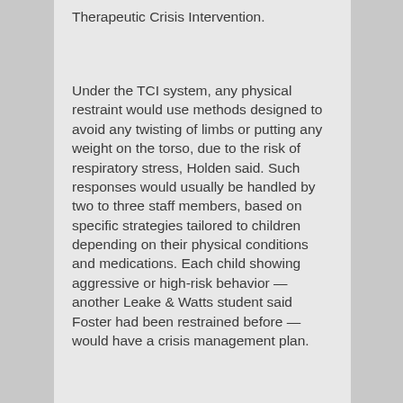Therapeutic Crisis Intervention.
Under the TCI system, any physical restraint would use methods designed to avoid any twisting of limbs or putting any weight on the torso, due to the risk of respiratory stress, Holden said. Such responses would usually be handled by two to three staff members, based on specific strategies tailored to children depending on their physical conditions and medications. Each child showing aggressive or high-risk behavior — another Leake & Watts student said Foster had been restrained before — would have a crisis management plan.